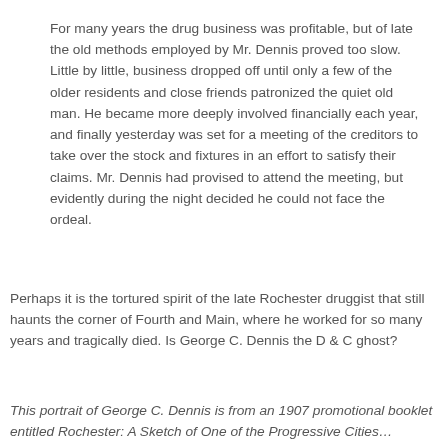For many years the drug business was profitable, but of late the old methods employed by Mr. Dennis proved too slow. Little by little, business dropped off until only a few of the older residents and close friends patronized the quiet old man. He became more deeply involved financially each year, and finally yesterday was set for a meeting of the creditors to take over the stock and fixtures in an effort to satisfy their claims. Mr. Dennis had provised to attend the meeting, but evidently during the night decided he could not face the ordeal.
Perhaps it is the tortured spirit of the late Rochester druggist that still haunts the corner of Fourth and Main, where he worked for so many years and tragically died. Is George C. Dennis the D & C ghost?
This portrait of George C. Dennis is from an 1907 promotional booklet entitled Rochester: A Sketch of One of the Progressive Cities...